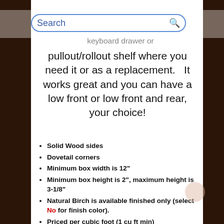[Figure (screenshot): Search bar with blue border and magnifying glass icon, text 'Search' in blue]
keyboard drawer or pullout/rollout shelf where you need it or as a replacement.   It works great and you can have a low front or low front and rear, your choice!
Solid Wood sides
Dovetail corners
Minimum box width is 12"
Minimum box height is 2", maximum height is 3-1/8"
Natural Birch is available finished only (select No for finish color).
Priced per cubic foot (1 cu ft min)
Available with 1/4" or 3/8" bottom (see notes below)*